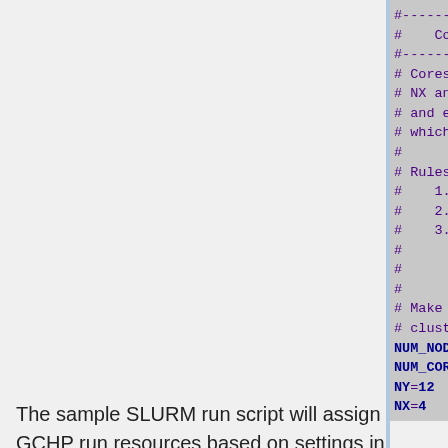[Figure (screenshot): Terminal/config file screenshot showing compute resources settings with commented lines and variable assignments: NUM_NODES=3, NUM_CORES_PER_NODE=16, NY=12, NX=4]
The sample SLURM run script will assign GCHP run resources based on settings in runConfig.sh. However, you must request the same number of nodes in your run script as in runConfig.sh. You may request